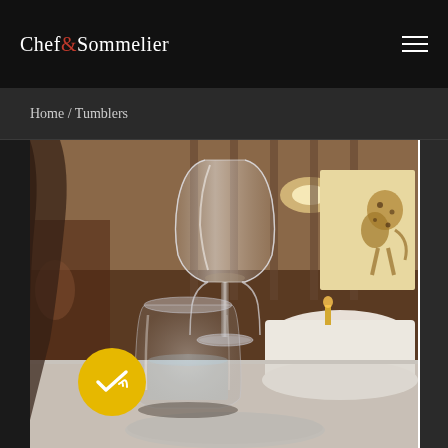Chef & Sommelier
Home / Tumblers
[Figure (photo): Elegant restaurant interior with a tall crystal wine glass in focus on a table, alongside a water tumbler. Background shows a fine dining room with white tablecloths, warm lighting, and decorative art.]
[Figure (logo): Yellow circular badge with white checkmark and decorative lines]